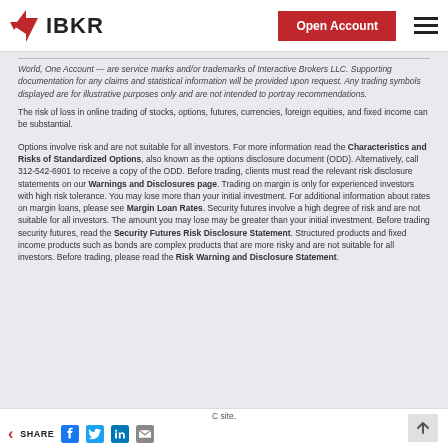[Figure (logo): IBKR logo with red chevron/spark icon and text IBKR in bold]
Open Account
World, One Account — are service marks and/or trademarks of Interactive Brokers LLC. Supporting documentation for any claims and statistical information will be provided upon request. Any trading symbols displayed are for illustrative purposes only and are not intended to portray recommendations.
The risk of loss in online trading of stocks, options, futures, currencies, foreign equities, and fixed income can be substantial.
Options involve risk and are not suitable for all investors. For more information read the Characteristics and Risks of Standardized Options, also known as the options disclosure document (ODD). Alternatively, call 312-542-6901 to receive a copy of the ODD. Before trading, clients must read the relevant risk disclosure statements on our Warnings and Disclosures page. Trading on margin is only for experienced investors with high risk tolerance. You may lose more than your initial investment. For additional information about rates on margin loans, please see Margin Loan Rates. Security futures involve a high degree of risk and are not suitable for all investors. The amount you may lose may be greater than your initial investment. Before trading security futures, read the Security Futures Risk Disclosure Statement. Structured products and fixed income products such as bonds are complex products that are more risky and are not suitable for all investors. Before trading, please read the Risk Warning and Disclosure Statement.
C site. SHARE